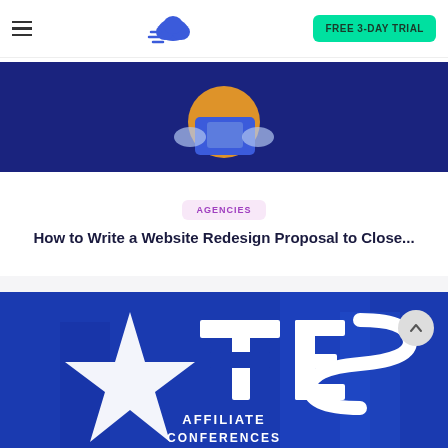Navigation header with hamburger menu, cloud logo, and FREE 3-DAY TRIAL button
[Figure (illustration): Dark blue background hero image with illustrated character holding a device, partial view (cropped at top)]
AGENCIES
How to Write a Website Redesign Proposal to Close...
[Figure (photo): Blue conference background with large white star and TES AFFILIATE CONFERENCES text logo]